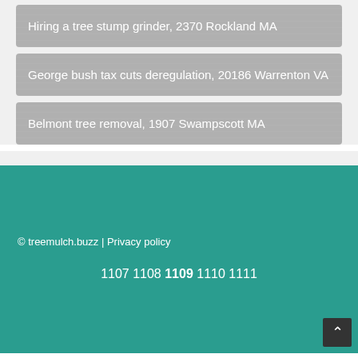Hiring a tree stump grinder, 2370 Rockland MA
George bush tax cuts deregulation, 20186 Warrenton VA
Belmont tree removal, 1907 Swampscott MA
© treemulch.buzz | Privacy policy
1107 1108 1109 1110 1111